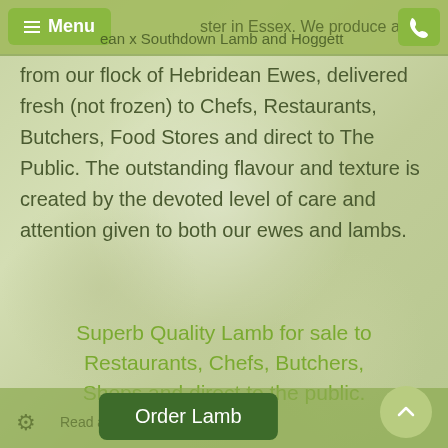…ster in Essex. We produce and sell …ean x Southdown Lamb and Hoggett
from our flock of Hebridean Ewes, delivered fresh (not frozen) to Chefs, Restaurants, Butchers, Food Stores and direct to The Public. The outstanding flavour and texture is created by the devoted level of care and attention given to both our ewes and lambs.
Superb Quality Lamb for sale to Restaurants, Chefs, Butchers, Shops and direct to the public.
Read about our… | Order Lamb